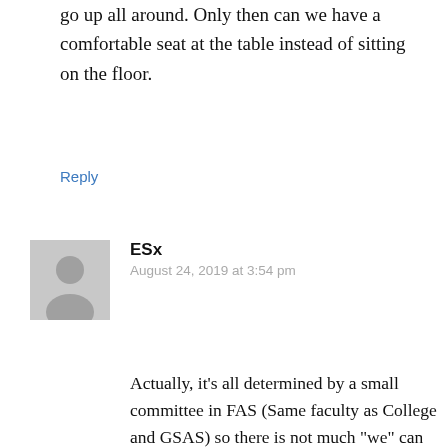go up all around. Only then can we have a comfortable seat at the table instead of sitting on the floor.
Reply
[Figure (illustration): Generic grey avatar placeholder image showing a silhouette of a person]
ESx
August 24, 2019 at 3:54 pm
Actually, it’s all determined by a small committee in FAS (Same faculty as College and GSAS) so there is not much “we” can do about it. Even our Dean is not above “the faculty”, which in this case is FAS. In fact, the most recent prior Dean did try to get extension studies removed. FAS is insistent